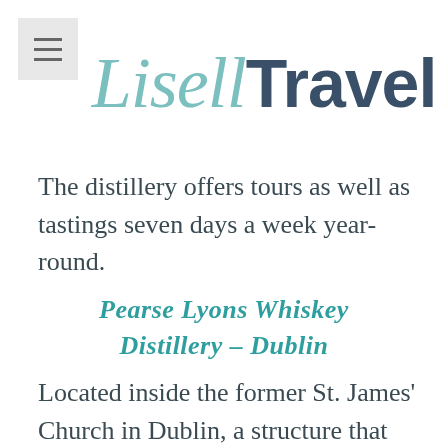[Figure (logo): Lisell Travel logo with cursive 'Lisell' in teal and sans-serif 'Travel' in dark blue-grey]
The distillery offers tours as well as tastings seven days a week year-round.
Pearse Lyons Whiskey Distillery – Dublin
Located inside the former St. James' Church in Dublin, a structure that dates back to the 12th century, the Pearse Lyons